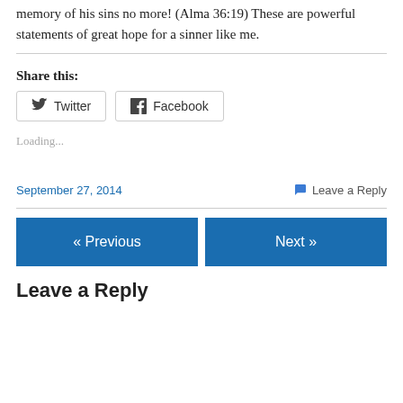memory of his sins no more! (Alma 36:19) These are powerful statements of great hope for a sinner like me.
Share this:
Twitter  Facebook
Loading...
September 27, 2014    Leave a Reply
« Previous    Next »
Leave a Reply